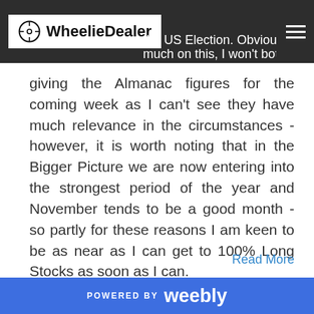WheelieDealer
giving the Almanac figures for the coming week as I can't see they have much relevance in the circumstances - however, it is worth noting that in the Bigger Picture we are now entering into the strongest period of the year and November tends to be a good month - so partly for these reasons I am keen to be as near as I can get to 100% Long Stocks as soon as I can.
Read More
0 Comments
POWERED BY weebly